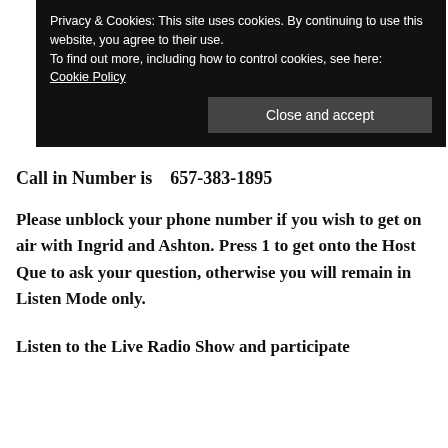Privacy & Cookies: This site uses cookies. By continuing to use this website, you agree to their use.
To find out more, including how to control cookies, see here:
Cookie Policy
Close and accept
Call in Number is   657-383-1895
Please unblock your phone number if you wish to get on air with Ingrid and Ashton. Press 1 to get onto the Host Que to ask your question, otherwise you will remain in Listen Mode only.
Listen to the Live Radio Show and participate